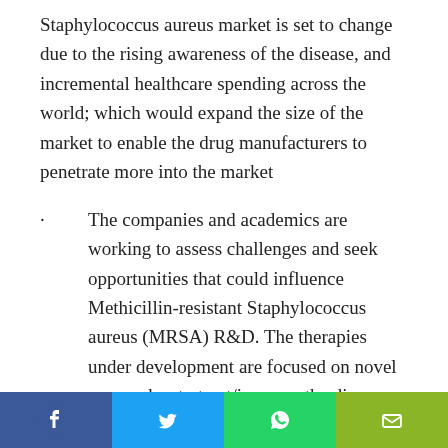Staphylococcus aureus market is set to change due to the rising awareness of the disease, and incremental healthcare spending across the world; which would expand the size of the market to enable the drug manufacturers to penetrate more into the market
The companies and academics are working to assess challenges and seek opportunities that could influence Methicillin-resistant Staphylococcus aureus (MRSA) R&D. The therapies under development are focused on novel approaches to treat/improve the disease condition
Major players are involved in developing
[Figure (infographic): Social media sharing bar with Facebook, Twitter, WhatsApp, and email icons]